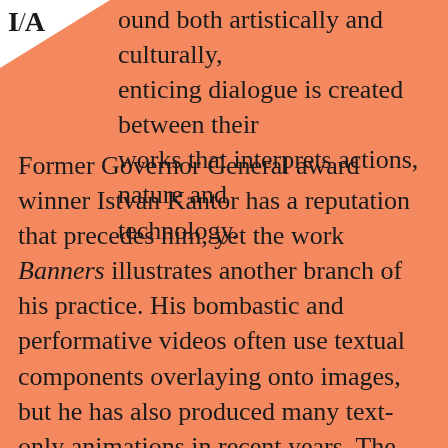[Figure (logo): White triangular logo in top-left corner with letters 'I/A' in serif font]
found both artistically and culturally, enticing dialogue is created between their works that interprets actions, nature and technology.
Former Governor General award winner Istvan Kantor has a reputation that precedes him, yet the work Banners illustrates another branch of his practice. His bombastic and performative videos often use textual components overlaying onto images, but he has also produced many text-only animations in recent years. The slogans resonate revolutionary thoughts but are also quite humorous (putting Cinderella in control of her glass slipper, for example). On select nights the work is projected into a